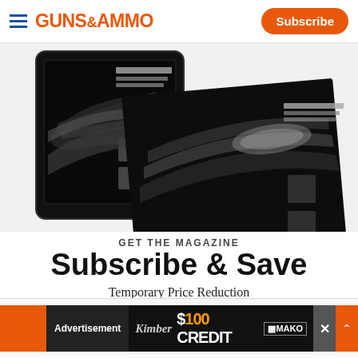GUNS&AMMO — Subscribe
[Figure (photo): Magazine and tablet mockup showing Guns & Ammo magazine cover with custom 1911 pistols on dark background]
GET THE MAGAZINE
Subscribe & Save
Temporary Price Reduction
[Figure (screenshot): Advertisement banner: Kimber logo with $100 CREDIT and MAKO branding on dark background]
We use cookies to provide you with the best experience in Outdoors programming. Click accept to continue or read about our Privacy Policy.